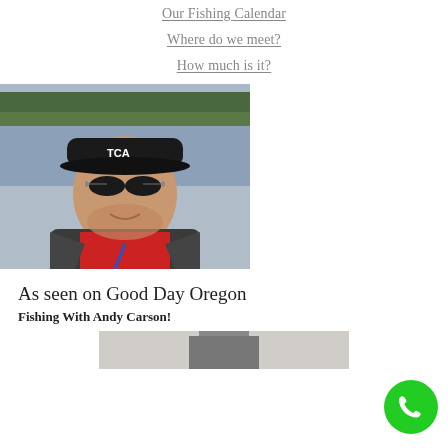Our Fishing Calendar
Where do we meet?
How much is it?
[Figure (photo): Man wearing a black cap with 'TCA' logo and sunglasses, wearing a red shirt and dark jacket with a lanyard, standing near a lake with trees in the background.]
As seen on Good Day Oregon
Fishing With Andy Carson!
[Figure (photo): Partial bottom photo, cropped, showing a figure outdoors.]